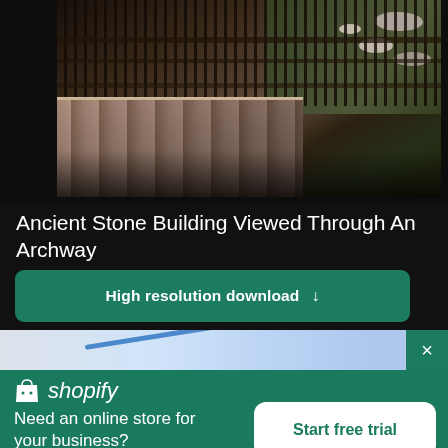[Figure (photo): Aerial/angled view of an ancient stone bridge staircase with iron railings, looking down at stone steps with green rocky ground visible to the right]
Ancient Stone Building Viewed Through An Archway
High resolution download ↓
[Figure (photo): Partial view of a second photo showing a light blue/grey surface with a blue diagonal line]
[Figure (logo): Shopify logo - white shopping bag icon with 'shopify' in italic white text]
Need an online store for your business?
Start free trial